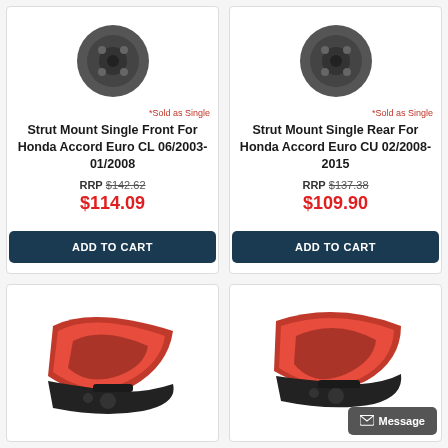[Figure (photo): Strut mount part - circular dark metal component, top view]
[Figure (photo): Strut mount part - circular dark metal component, top view]
*Sold as Single
*Sold as Single
Strut Mount Single Front For Honda Accord Euro CL 06/2003-01/2008
Strut Mount Single Rear For Honda Accord Euro CU 02/2008-2015
RRP $142.62
$114.09
RRP $137.38
$109.90
ADD TO CART
ADD TO CART
[Figure (photo): Red tail light assembly for Honda Accord, shown in two pieces - outer lens and inner housing]
[Figure (photo): Red tail light assembly for Honda Accord, shown in two pieces - outer lens and inner housing, right side variant]
Message